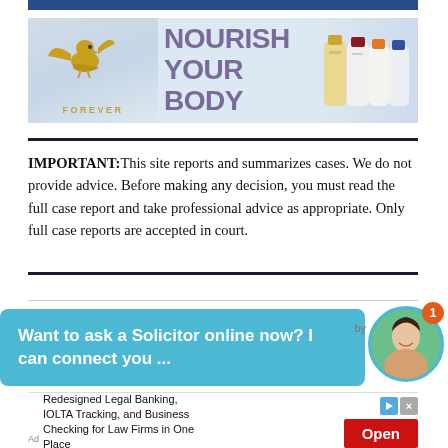[Figure (other): Forever Living Products advertisement banner with eagle logo, 'NOURISH YOUR BODY' text, and product bottles]
IMPORTANT: This site reports and summarizes cases. We do not provide advice. Before making any decision, you must read the full case report and take professional advice as appropriate. Only full case reports are accepted in court.
[Figure (other): Chat widget bubble saying 'Want to ask a Solicitor online now? I can connect you ...' with a female avatar photo and notification badge showing 1]
[Figure (other): Advertisement for Redesigned Legal Banking, IOLTA Tracking, and Business Checking for Law Firms in One Place with Open button]